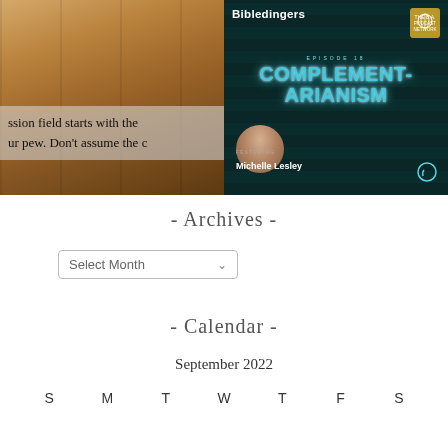[Figure (photo): Church pews in wood, with text overlay: 'ssion field starts with the ur pew. Don't assume the c']
[Figure (illustration): Bibledingers podcast cover, Episode 18: Complement-arianism, featuring Michelle Lesley, dark teal background with glowing text]
- Archives -
Select Month
- Calendar -
September 2022
S  M  T  W  T  F  S